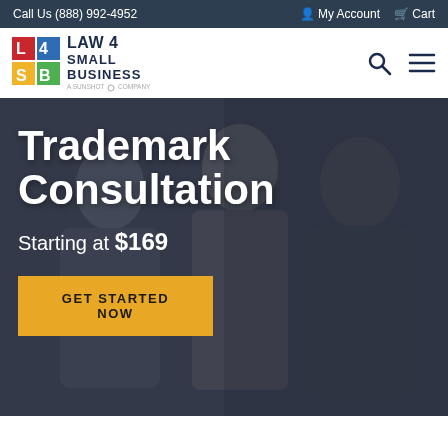Call Us (888) 992-4952 | My Account | Cart
[Figure (logo): Law 4 Small Business logo with colorful L4SB grid icon and text 'LAW 4 SMALL BUSINESS, a Sunshot Company']
Trademark Consultation
Starting at $169
GET STARTED NOW